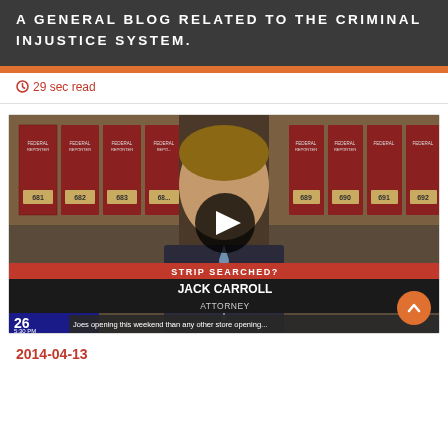A GENERAL BLOG RELATED TO THE CRIMINAL INJUSTICE SYSTEM.
29 sec read
[Figure (screenshot): Video thumbnail screenshot of a Fox 26 news segment showing a man identified as Jack Carroll, Attorney, with legal books in the background. A play button is overlaid on the center. Lower-third chyron reads: STRIP SEARCHED? / JACK CARROLL / ATTORNEY. Ticker text: Joes opening this weekend than any other store opening. Scroll-to-top orange button visible at bottom right.]
2014-04-13